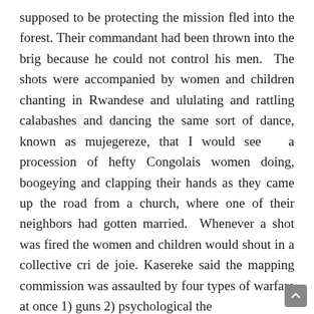supposed to be protecting the mission fled into the forest. Their commandant had been thrown into the brig because he could not control his men. The shots were accompanied by women and children chanting in Rwandese and ululating and rattling calabashes and dancing the same sort of dance, known as mujegereze, that I would see a procession of hefty Congolais women doing, boogeying and clapping their hands as they came up the road from a church, where one of their neighbors had gotten married. Whenever a shot was fired the women and children would shout in a collective cri de joie. Kasereke said the mapping commission was assaulted by four types of warfare at once 1) guns 2) psychological the